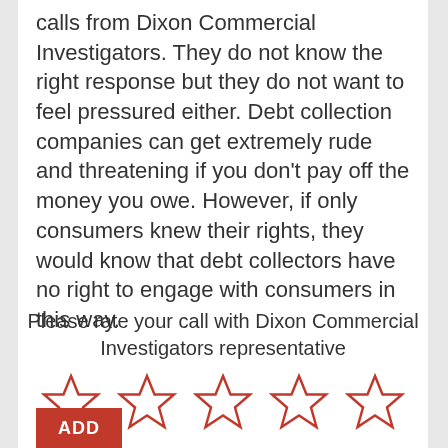calls from Dixon Commercial Investigators. They do not know the right response but they do not want to feel pressured either. Debt collection companies can get extremely rude and threatening if you don't pay off the money you owe. However, if only consumers knew their rights, they would know that debt collectors have no right to engage with consumers in this way.
Please rate your call with Dixon Commercial Investigators representative
[Figure (other): Five empty (unfilled) star rating icons in red outline]
ADD